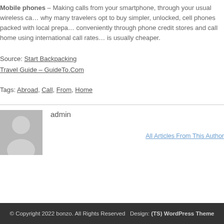Mobile phones – Making calls from your smartphone, through your usual wireless ca... why many travelers opt to buy simpler, unlocked, cell phones packed with local prepa... conveniently through phone credit stores and call home using international call rates... is usually cheaper.
Source: Start Backpacking
Travel Guide – GuideTo.Com
Tags: Abroad, Call, From, Home
[Figure (photo): Default avatar/silhouette placeholder image with grey background]
admin
All Articles From This Author
© Copyright 2022 bonzo. All Rights Reserved   Design: (TS) WordPress Theme